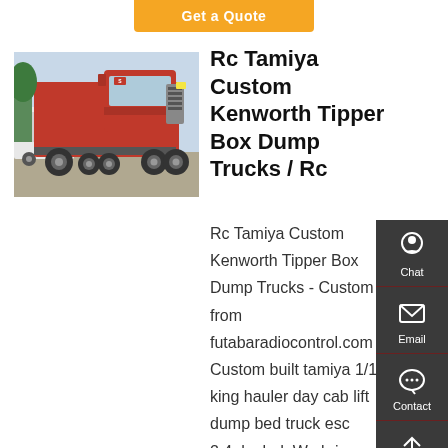Get a Quote
[Figure (photo): Red heavy-duty truck (tractor unit) parked outdoors, front-left view, with white trucks and trees in background.]
Rc Tamiya Custom Kenworth Tipper Box Dump Trucks / Rc
Rc Tamiya Custom Kenworth Tipper Box Dump Trucks - Custom from futabaradiocontrol.com Custom built tamiya 1/14 king hauler day cab lift dump bed truck esc 2.4ghz led. We bring you reality at model scale trucking and construction equipment that real